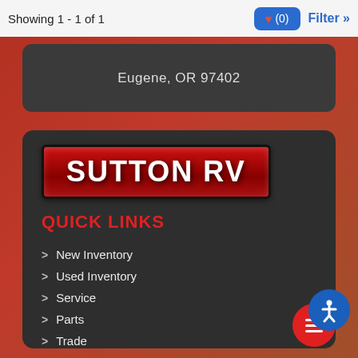Showing 1 - 1 of 1
Eugene, OR 97402
[Figure (logo): Sutton RV logo — white bold text 'SUTTON RV' on red banner with dark border]
QUICK LINKS
New Inventory
Used Inventory
Service
Parts
Trade
Financing
About